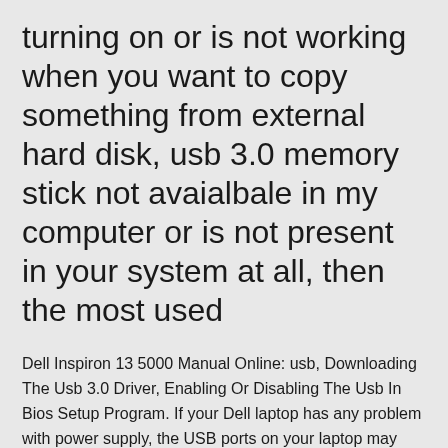turning on or is not working when you want to copy something from external hard disk, usb 3.0 memory stick not avaialbale in my computer or is not present in your system at all, then the most used
Dell Inspiron 13 5000 Manual Online: usb, Downloading The Usb 3.0 Driver, Enabling Or Disabling The Usb In Bios Setup Program. If your Dell laptop has any problem with power supply, the USB ports on your laptop may stop working. If you're using a Dell laptop and it does not recognize your USB device, you should check if it has any issues dell inspiron n5110 spesifikasi download driver dell inspiron n5110 windows 7 64 bit dell